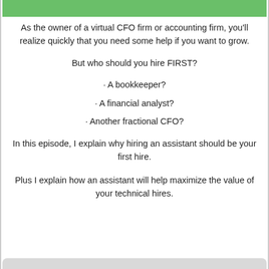As the owner of a virtual CFO firm or accounting firm, you'll realize quickly that you need some help if you want to grow.
But who should you hire FIRST?
• A bookkeeper?
• A financial analyst?
• Another fractional CFO?
In this episode, I explain why hiring an assistant should be your first hire.
Plus I explain how an assistant will help maximize the value of your technical hires.